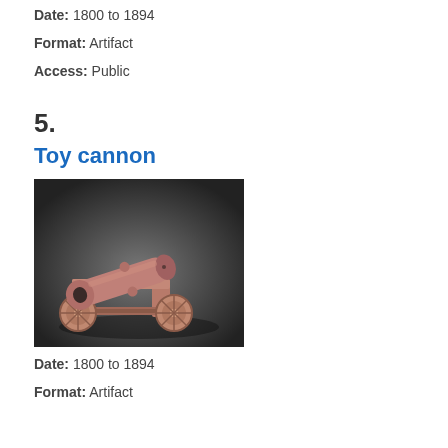Date: 1800 to 1894
Format: Artifact
Access: Public
5.
Toy cannon
[Figure (photo): Photograph of a toy cannon — a small pink/terracotta colored cannon on a wheeled carriage, viewed from a three-quarter angle against a dark grey background.]
Date: 1800 to 1894
Format: Artifact